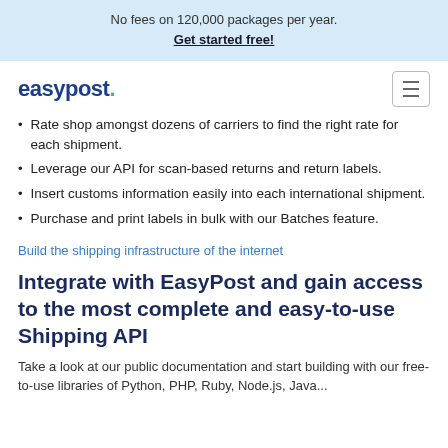No fees on 120,000 packages per year. Get started free!
[Figure (logo): EasyPost logo in dark blue with a period and blue dot]
Rate shop amongst dozens of carriers to find the right rate for each shipment.
Leverage our API for scan-based returns and return labels.
Insert customs information easily into each international shipment.
Purchase and print labels in bulk with our Batches feature.
Build the shipping infrastructure of the internet
Integrate with EasyPost and gain access to the most complete and easy-to-use Shipping API
Take a look at our public documentation and start building with our free-to-use libraries of Python, PHP, Ruby, Node.js, Java...